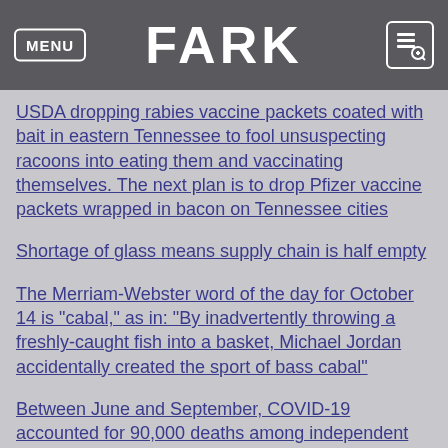MENU | FARK
USDA dropping rabies vaccine packets coated with bait in eastern Tennessee to fool unsuspecting racoons into eating them and vaccinating themselves. The next plan is to drop Pfizer vaccine packets wrapped in bacon on Tennessee cities
Shortage of glass means supply chain is half empty
The Merriam-Webster word of the day for October 14 is "cabal," as in: "By inadvertently throwing a freshly-caught fish into a basket, Michael Jordan accidentally created the sport of bass cabal"
Between June and September, COVID-19 accounted for 90,000 deaths among independent virus researchers
Smeggin' Thee Stallion